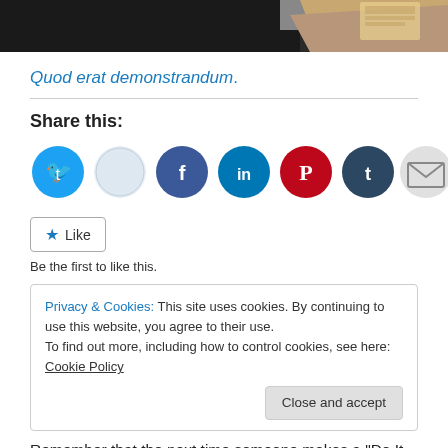[Figure (photo): Top strip showing a dark background with hands holding something, cropped photo]
Quod erat demonstrandum.
Share this:
[Figure (infographic): Row of social media share icons: Twitter, Reddit, Facebook, LinkedIn, Pinterest, Tumblr, Email]
Like  Be the first to like this.
Privacy & Cookies: This site uses cookies. By continuing to use this website, you agree to their use. To find out more, including how to control cookies, see here: Cookie Policy  Close and accept
Remember that the next time someone makes a "Do It For